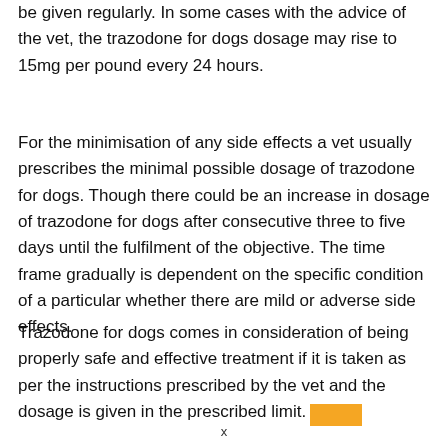be given regularly. In some cases with the advice of the vet, the trazodone for dogs dosage may rise to 15mg per pound every 24 hours.
For the minimisation of any side effects a vet usually prescribes the minimal possible dosage of trazodone for dogs. Though there could be an increase in dosage of trazodone for dogs after consecutive three to five days until the fulfilment of the objective. The time frame gradually is dependent on the specific condition of a particular whether there are mild or adverse side effects.
Trazodone for dogs comes in consideration of being properly safe and effective treatment if it is taken as per the instructions prescribed by the vet and the dosage is given in the prescribed limit.
x